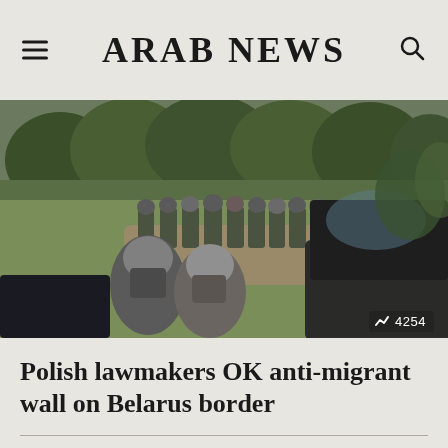ARAB NEWS
[Figure (photo): Armed soldiers or border guards in camouflage and tactical gear standing in a group outdoors near a forested area, viewed from behind a dark vehicle. The image shows a military or law enforcement operation.]
Polish lawmakers OK anti-migrant wall on Belarus border